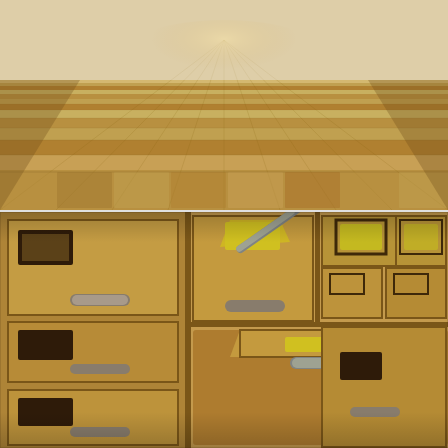[Figure (photo): Aerial perspective view of a wooden parquet floor with alternating light and dark wood planks arranged in a herringbone-like pattern, giving a sense of depth and vanishing point toward the upper center of the image.]
[Figure (photo): Close-up photo of vintage wooden card catalog or filing cabinet drawers with metal label holders and yellow label cards visible on several drawers, one drawer partially open revealing contents, warm brown tones throughout.]